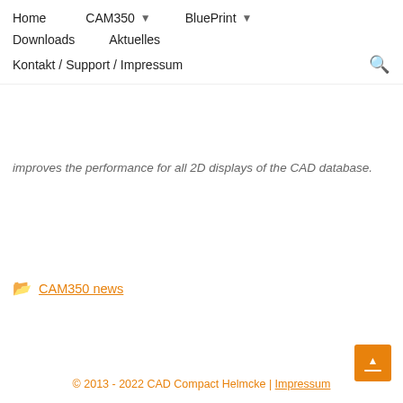Home  CAM350 ▾  BluePrint ▾  Downloads  Aktuelles  Kontakt / Support / Impressum 🔍
improves the performance for all 2D displays of the CAD database.
📁 CAM350 news
© 2013 - 2022 CAD Compact Helmcke | Impressum